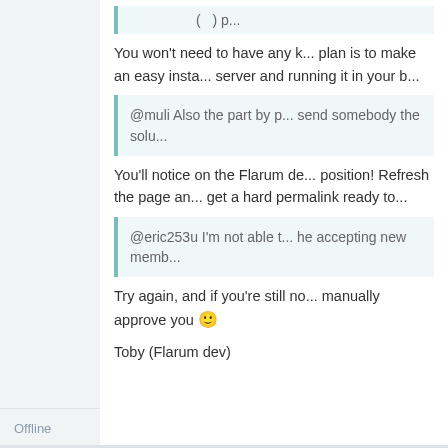[Figure (screenshot): Left sidebar panel with light blue-gray background, showing Offline status label at the bottom]
You won't need to have any k... plan is to make an easy insta... server and running it in your b...
@muli Also the part by p... send somebody the solu...
You'll notice on the Flarum de... position! Refresh the page an... get a hard permalink ready to...
@eric253u I'm not able t... he accepting new memb...
Try again, and if you're still no... manually approve you 🙂
Toby (Flarum dev)
Offline